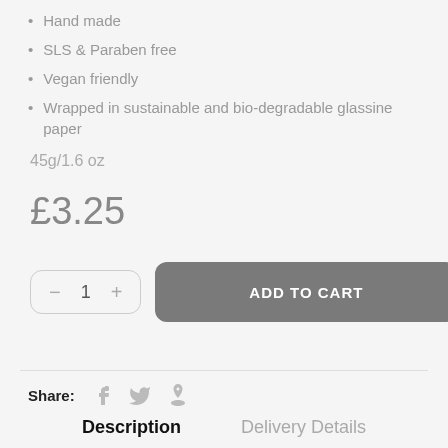Hand made
SLS & Paraben free
Vegan friendly
Wrapped in sustainable and bio-degradable glassine paper
45g/1.6 oz
£3.25
- 1 + ADD TO CART
Share:
Description  Delivery Details